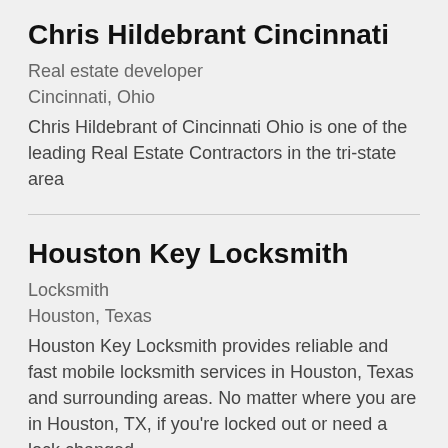Chris Hildebrant Cincinnati
Real estate developer
Cincinnati, Ohio
Chris Hildebrant of Cincinnati Ohio is one of the leading Real Estate Contractors in the tri-state area
Houston Key Locksmith
Locksmith
Houston, Texas
Houston Key Locksmith provides reliable and fast mobile locksmith services in Houston, Texas and surrounding areas. No matter where you are in Houston, TX, if you're locked out or need a lock changed,